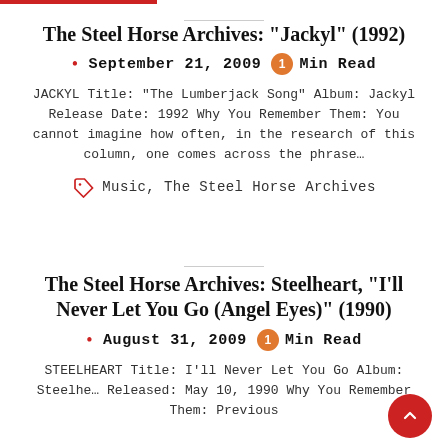The Steel Horse Archives: "Jackyl" (1992)
September 21, 2009  1 Min Read
JACKYL Title: "The Lumberjack Song" Album: Jackyl Release Date: 1992 Why You Remember Them: You cannot imagine how often, in the research of this column, one comes across the phrase…
Music, The Steel Horse Archives
The Steel Horse Archives: Steelheart, "I'll Never Let You Go (Angel Eyes)" (1990)
August 31, 2009  1 Min Read
STEELHEART Title: I'll Never Let You Go Album: Steelhe… Released: May 10, 1990 Why You Remember Them: Previous